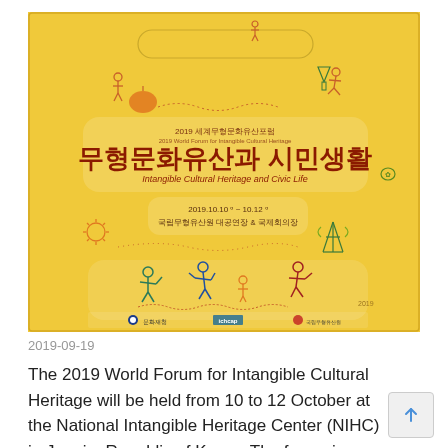[Figure (illustration): 2019 World Forum for Intangible Cultural Heritage promotional poster with yellow background, Korean text '무형문화유산과 시민생활', subtitle 'Intangible Cultural Heritage and Civic Life', date 2019.10.10 ~ 10.12, venue information, decorative folk-style line drawings of people and cultural activities, and logos at the bottom.]
2019-09-19
The 2019 World Forum for Intangible Cultural Heritage will be held from 10 to 12 October at the National Intangible Heritage Center (NIHC) in Jeonju, Republic of Korea. The forum is hosted by ICHCAP and organized by the NIHC. The...